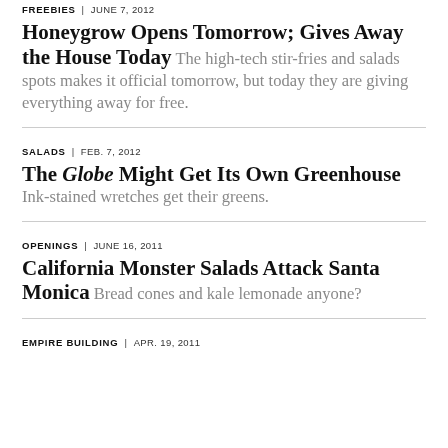FREEBIES | JUNE 7, 2012
Honeygrow Opens Tomorrow; Gives Away the House Today
The high-tech stir-fries and salads spots makes it official tomorrow, but today they are giving everything away for free.
SALADS | FEB. 7, 2012
The Globe Might Get Its Own Greenhouse
Ink-stained wretches get their greens.
OPENINGS | JUNE 16, 2011
California Monster Salads Attack Santa Monica
Bread cones and kale lemonade anyone?
EMPIRE BUILDING | APR. 19, 2011